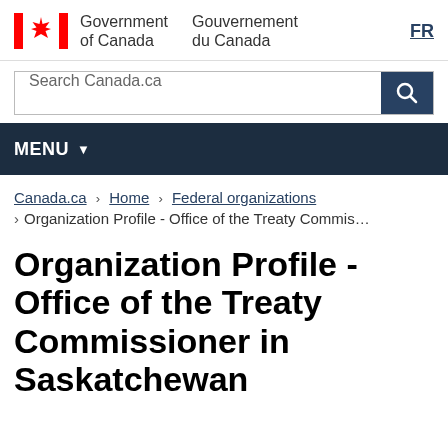[Figure (logo): Government of Canada / Gouvernement du Canada logo with Canadian flag and bilingual text, plus FR language toggle]
[Figure (screenshot): Search Canada.ca search bar with search button]
[Figure (screenshot): MENU navigation bar with dropdown arrow]
Canada.ca > Home > Federal organizations
> Organization Profile - Office of the Treaty Commis...
Organization Profile - Office of the Treaty Commissioner in Saskatchewan